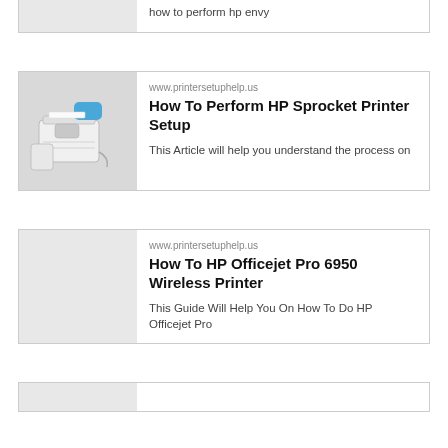how to perform hp envy
[Figure (photo): HP Sprocket printer and accessories product photo]
www.printersetuphelp.us
How To Perform HP Sprocket Printer Setup
This Article will help you understand the process on
www.printersetuphelp.us
How To HP Officejet Pro 6950 Wireless Printer
This Guide Will Help You On How To Do HP Officejet Pro